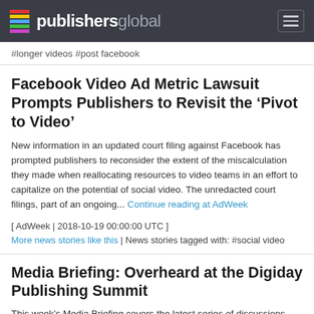publishersglobal
#longer videos #post facebook
Facebook Video Ad Metric Lawsuit Prompts Publishers to Revisit the ‘Pivot to Video’
New information in an updated court filing against Facebook has prompted publishers to reconsider the extent of the miscalculation they made when reallocating resources to video teams in an effort to capitalize on the potential of social video. The unredacted court filings, part of an ongoing... Continue reading at AdWeek
[ AdWeek | 2018-10-19 00:00:00 UTC ]
More news stories like this | News stories tagged with: #social video
Media Briefing: Overheard at the Digiday Publishing Summit
This week’s Media Briefing covers the latest series of discussions...